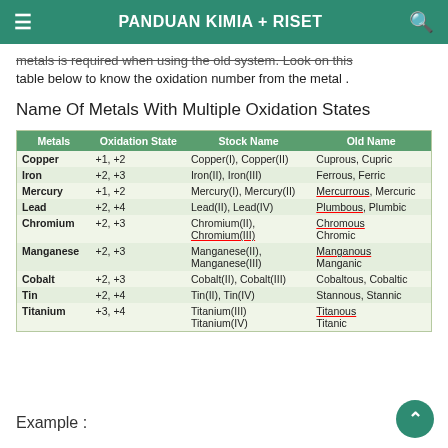PANDUAN KIMIA + RISET
metals is required when using the old system. Look on this table below to know the oxidation number from the metal .
Name Of Metals With Multiple Oxidation States
| Metals | Oxidation State | Stock Name | Old Name |
| --- | --- | --- | --- |
| Copper | +1, +2 | Copper(I), Copper(II) | Cuprous, Cupric |
| Iron | +2, +3 | Iron(II), Iron(III) | Ferrous, Ferric |
| Mercury | +1, +2 | Mercury(I), Mercury(II) | Mercurrous, Mercuric |
| Lead | +2, +4 | Lead(II), Lead(IV) | Plumbous, Plumbic |
| Chromium | +2, +3 | Chromium(II), Chromium(III) | Chromous
Chromic |
| Manganese | +2, +3 | Manganese(II), Manganese(III) | Manganous
Manganic |
| Cobalt | +2, +3 | Cobalt(II), Cobalt(III) | Cobaltous, Cobaltic |
| Tin | +2, +4 | Tin(II), Tin(IV) | Stannous, Stannic |
| Titanium | +3, +4 | Titanium(III)
Titanium(IV) | Titanous
Titanic |
Example :